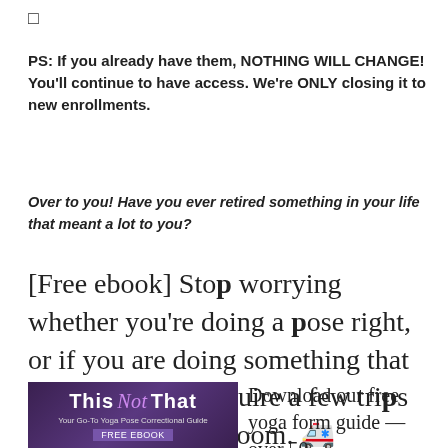☐
PS: If you already have them, NOTHING WILL CHANGE! You'll continue to have access. We're ONLY closing it to new enrollments.
Over to you! Have you ever retired something in your life that meant a lot to you?
[Free ebook] Stop worrying whether you're doing a pose right, or if you are doing something that will eventually require a few trips to the emergency room. 🚑
[Figure (illustration): Book cover for 'This Not That - Your Go-To Yoga Pose Correctional Guide' with purple background and FREE EBOOK label]
Download our free yoga form guide — over 50